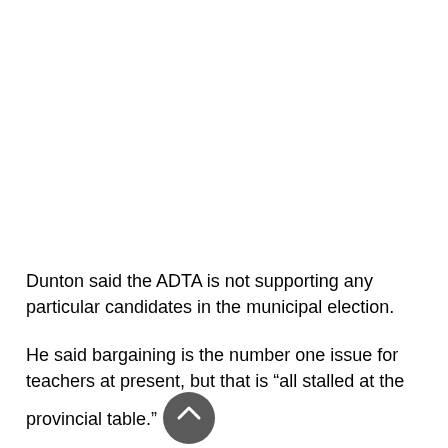Dunton said the ADTA is not supporting any particular candidates in the municipal election.
He said bargaining is the number one issue for teachers at present, but that is “all stalled at the provincial table.”
Dunton attended the local all-candidates meeting, but found